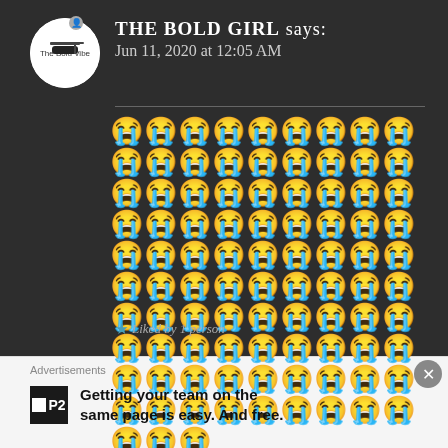THE BOLD GIRL says:
Jun 11, 2020 at 12:05 AM
😭😭😭😭😭😭😭😭😭😭😭😭😭😭😭😭😭😭😭😭😭😭😭😭😭😭😭😭😭😭😭😭😭😭😭😭😭😭😭😭😭😭😭😭😭😭😭😭😭😭😭😭😭😭😭😭😭😭😭😭😭😭😭😭😭😭😭😭😭😭😭😭😭😭😭😭😭😭😭😭😭😭😭😭😭😭😭😭😭😭😭😭😭
Liked by 1 person
Advertisements
Getting your team on the same page is easy. And free.